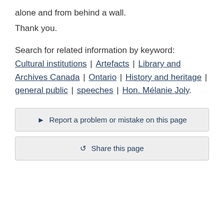alone and from behind a wall.
Thank you.
Search for related information by keyword: Cultural institutions | Artefacts | Library and Archives Canada | Ontario | History and heritage | general public | speeches | Hon. Mélanie Joly.
▶ Report a problem or mistake on this page
↩ Share this page